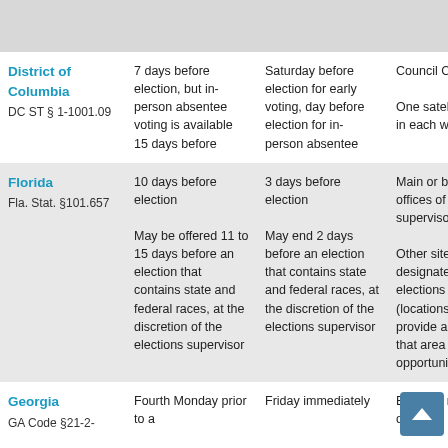| State | Early Voting Start | Early Voting End | Locations |
| --- | --- | --- | --- |
| District of Columbia
DC ST § 1-1001.09 | 7 days before election, but in-person absentee voting is available 15 days before | Saturday before election for early voting, day before election for in-person absentee | Council Chamber
One satellite location in each ward |
| Florida
Fla. Stat. §101.657 | 10 days before election

May be offered 11 to 15 days before an election that contains state and federal races, at the discretion of the elections supervisor | 3 days before election

May end 2 days before an election that contains state and federal races, at the discretion of the elections supervisor | Main or branch offices of election supervisors

Other sites designated by the elections supervisor (locations must provide all voters in that area with equal opportunity to vote |
| Georgia
GA Code §21-2-... | Fourth Monday prior to a | Friday immediately | Board of registration offices |